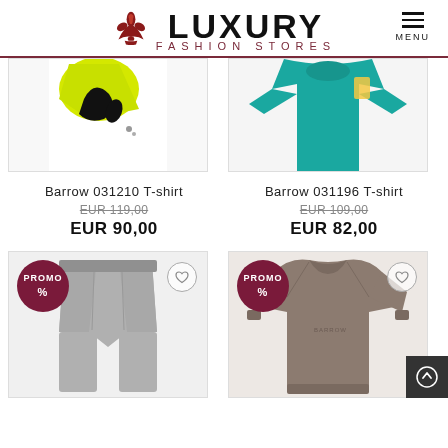[Figure (logo): Luxury Fashion Stores logo with fleur-de-lis icon and hamburger menu]
[Figure (photo): Barrow 031210 T-shirt product image - white tee with yellow and black graphic, cropped view]
[Figure (photo): Barrow 031196 T-shirt product image - teal/turquoise t-shirt, cropped view]
Barrow 031210 T-shirt
EUR 119,00 (strikethrough) EUR 90,00
Barrow 031196 T-shirt
EUR 109,00 (strikethrough) EUR 82,00
[Figure (photo): Grey shorts/trousers product image with PROMO% badge]
[Figure (photo): Brown/taupe sweatshirt product image with PROMO% badge]